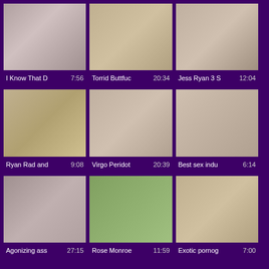[Figure (screenshot): Video thumbnail grid - Row 1: video 1 thumbnail]
I Know That D   7:56
[Figure (screenshot): Video thumbnail grid - Row 1: video 2 thumbnail]
Torrid Buttfuc   20:34
[Figure (screenshot): Video thumbnail grid - Row 1: video 3 thumbnail]
Jess Ryan 3 S   12:04
[Figure (screenshot): Video thumbnail grid - Row 2: video 1 thumbnail]
Ryan Rad and   9:08
[Figure (screenshot): Video thumbnail grid - Row 2: video 2 thumbnail]
Virgo Peridot   20:39
[Figure (screenshot): Video thumbnail grid - Row 2: video 3 thumbnail]
Best sex indu   6:14
[Figure (screenshot): Video thumbnail grid - Row 3: video 1 thumbnail]
Agonizing ass   27:15
[Figure (screenshot): Video thumbnail grid - Row 3: video 2 thumbnail]
Rose Monroe   11:59
[Figure (screenshot): Video thumbnail grid - Row 3: video 3 thumbnail]
Exotic pornog   7:00